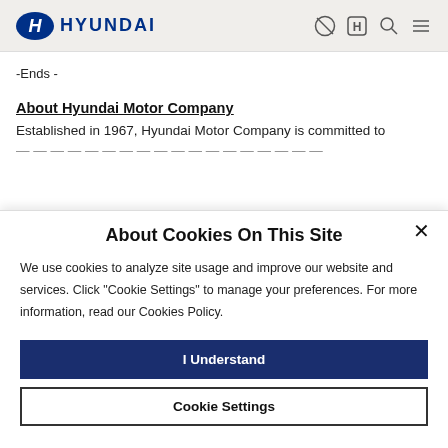[Figure (logo): Hyundai logo with H emblem and HYUNDAI wordmark plus navigation icons]
-Ends -
About Hyundai Motor Company
Established in 1967, Hyundai Motor Company is committed to
About Cookies On This Site
We use cookies to analyze site usage and improve our website and services. Click "Cookie Settings" to manage your preferences. For more information, read our Cookies Policy.
I Understand
Cookie Settings